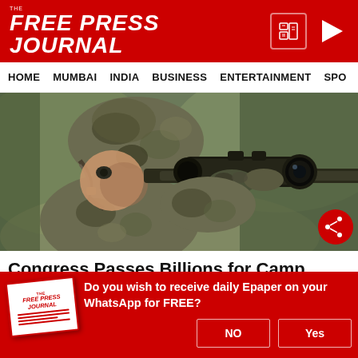FREE PRESS JOURNAL
HOME   MUMBAI   INDIA   BUSINESS   ENTERTAINMENT   SPO
[Figure (photo): Soldier in camouflage gear and helmet looking through a rifle scope]
Congress Passes Billions for Camp Lejeune Families
UnitedClaimsBureau | Sponsored
Do you wish to receive daily Epaper on your WhatsApp for FREE?
NO   Yes